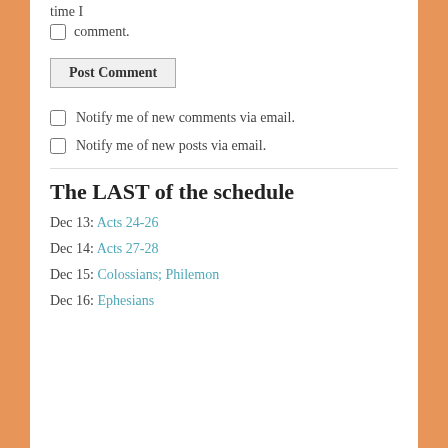time I
comment.
Post Comment
Notify me of new comments via email.
Notify me of new posts via email.
The LAST of the schedule
Dec 13: Acts 24-26
Dec 14: Acts 27-28
Dec 15: Colossians; Philemon
Dec 16: Ephesians